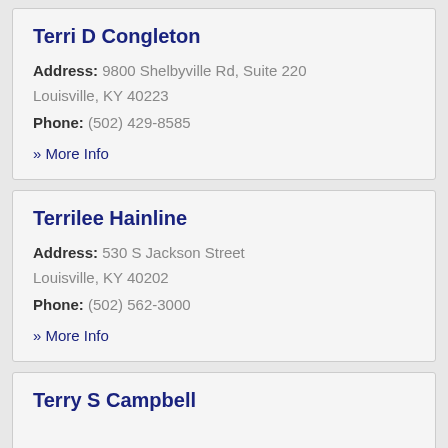Terri D Congleton
Address: 9800 Shelbyville Rd, Suite 220 Louisville, KY 40223
Phone: (502) 429-8585
» More Info
Terrilee Hainline
Address: 530 S Jackson Street Louisville, KY 40202
Phone: (502) 562-3000
» More Info
Terry S Campbell